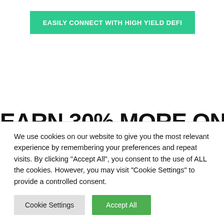EASILY CONNECT WITH HIGH YIELD DEFI
EARN 30% MORE ON
We use cookies on our website to give you the most relevant experience by remembering your preferences and repeat visits. By clicking "Accept All", you consent to the use of ALL the cookies. However, you may visit "Cookie Settings" to provide a controlled consent.
Cookie Settings | Accept All